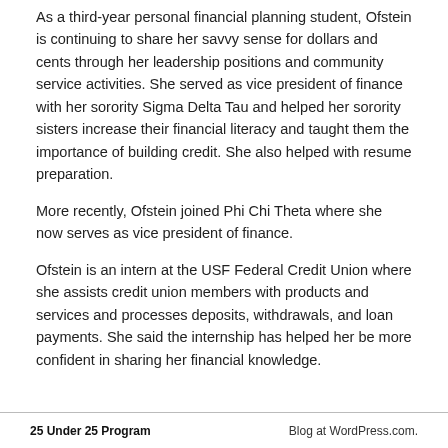As a third-year personal financial planning student, Ofstein is continuing to share her savvy sense for dollars and cents through her leadership positions and community service activities. She served as vice president of finance with her sorority Sigma Delta Tau and helped her sorority sisters increase their financial literacy and taught them the importance of building credit. She also helped with resume preparation.
More recently, Ofstein joined Phi Chi Theta where she now serves as vice president of finance.
Ofstein is an intern at the USF Federal Credit Union where she assists credit union members with products and services and processes deposits, withdrawals, and loan payments. She said the internship has helped her be more confident in sharing her financial knowledge.
25 Under 25 Program    Blog at WordPress.com.